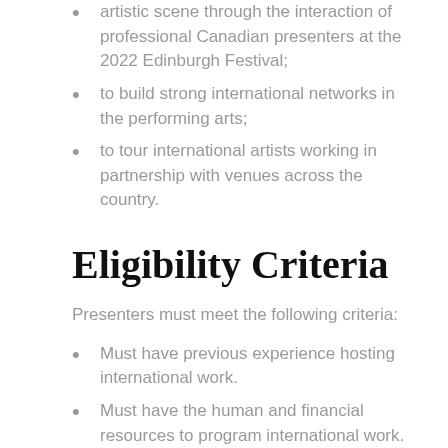artistic scene through the interaction of professional Canadian presenters at the 2022 Edinburgh Festival;
to build strong international networks in the performing arts;
to tour international artists working in partnership with venues across the country.
Eligibility Criteria
Presenters must meet the following criteria:
Must have previous experience hosting international work.
Must have the human and financial resources to program international work.
Demonstrate the ability to return home and champion the work you have seen to your region